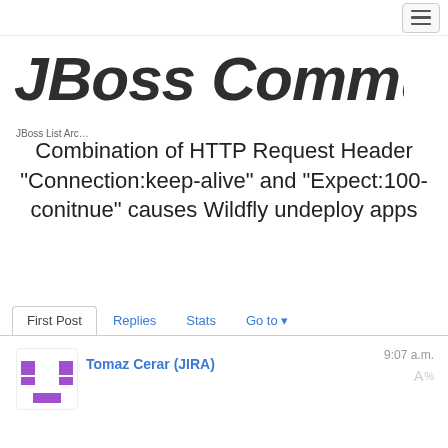[Figure (logo): JBoss Community logo in dark grey bold italic text]
JBoss List Arc…
Combination of HTTP Request Header "Connection:keep-alive" and "Expect:100-conitnue" causes Wildfly undeploy apps
First Post   Replies   Stats   Go to ▾
Tomaz Cerar (JIRA)
9:07 a.m.